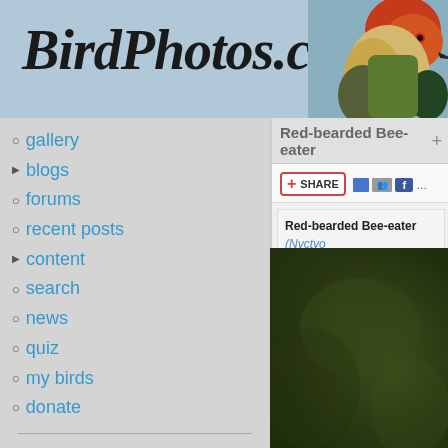BirdPhotos.com
gallery
blogs
forums
recent posts
content
search
news
quiz
my birds
donate
log in
Red-bearded Bee-eater +
SHARE
Red-bearded Bee-eater (Nyctyo...
Photo by Francesco Veronesi _
first   previous   (Red-beard...
[Figure (photo): Dark green blurred background photo area for Red-bearded Bee-eater bird photo]